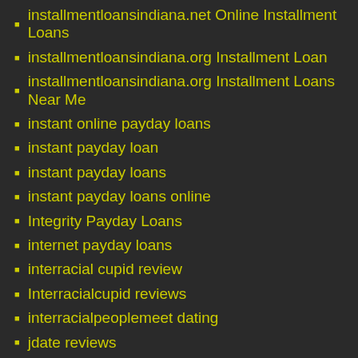installmentloansindiana.net Online Installment Loans
installmentloansindiana.org Installment Loan
installmentloansindiana.org Installment Loans Near Me
instant online payday loans
instant payday loan
instant payday loans
instant payday loans online
Integrity Payday Loans
internet payday loans
interracial cupid review
Interracialcupid reviews
interracialpeoplemeet dating
jdate reviews
Jpeoplemeet login
jpeoplemeet review reddit